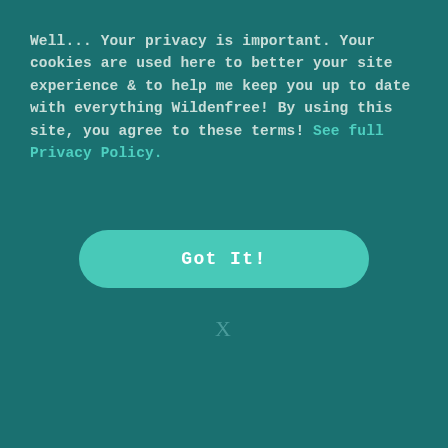Well... Your privacy is important. Your cookies are used here to better your site experience & to help me keep you up to date with everything Wildenfree! By using this site, you agree to these terms! See full Privacy Policy.
[Figure (other): Teal rounded rectangle button labeled 'Got It!']
X
expectations that I have placed upon myself. I have allowed the expectations of others even, to make me calculate my steps. The pressures of unceasingly harassing myself...
[Figure (illustration): Open book illustration at bottom with teal upward-pointing triangle arrow and curved page bottom]